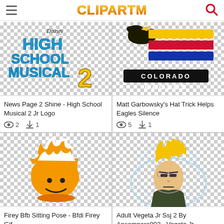ClipArtMax
[Figure (illustration): Disney High School Musical 2 logo clipart on checkered background]
News Page 2 Shine - High School Musical 2 Jr Logo
2  1
[Figure (logo): Colorado Eagles hockey team logo with eagle and colored stripes on checkered background]
Matt Garbowsky's Hat Trick Helps Eagles Silence
5  1
[Figure (illustration): Firey BFB character sitting pose - orange flame character with smiley face on checkered background]
Firey Bfb Sitting Pose - Bfdi Firey Gif
[Figure (illustration): Adult Vegeta Jr SSJ2 super saiyan anime character with golden spiky hair and blue energy aura on checkered background]
Adult Vegeta Jr Ssj 2 By Ansemporo002 - Vegeta Jr